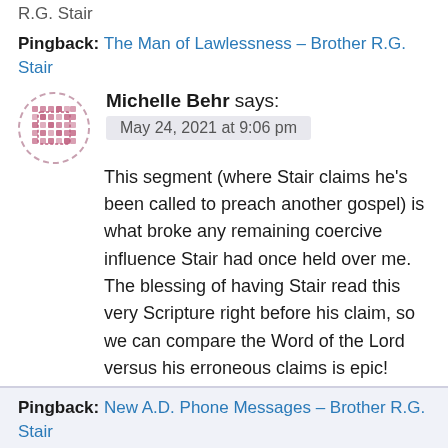R.G. Stair
Pingback: The Man of Lawlessness – Brother R.G. Stair
Michelle Behr says:
May 24, 2021 at 9:06 pm
This segment (where Stair claims he's been called to preach another gospel) is what broke any remaining coercive influence Stair had once held over me. The blessing of having Stair read this very Scripture right before his claim, so we can compare the Word of the Lord versus his erroneous claims is epic!
Reply
Pingback: New A.D. Phone Messages – Brother R.G. Stair